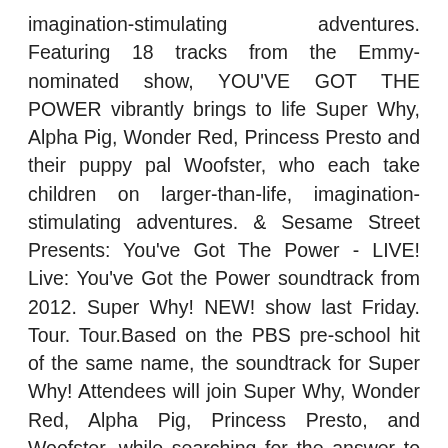imagination-stimulating adventures. Featuring 18 tracks from the Emmy-nominated show, YOU'VE GOT THE POWER vibrantly brings to life Super Why, Alpha Pig, Wonder Red, Princess Presto and their puppy pal Woofster, who each take children on larger-than-life, imagination-stimulating adventures. & Sesame Street Presents: You've Got The Power - LIVE! Live: You've Got the Power soundtrack from 2012. Super Why! NEW! show last Friday. Tour. Tour.Based on the PBS pre-school hit of the same name, the soundtrack for Super Why! Attendees will join Super Why, Wonder Red, Alpha Pig, Princess Presto, and Woofster, while searching for the answer to the question, “Who has the greatest super power in the world?” I'll give you a hint. See more details at. is designed to help kids ages 3 to 6 with the skills that they need to learn to read (and love to read) as recommended by the National Reading Panel (alpha! Preschoolers have “the power” to experience Super WHY as never before when Super WHY Live: You've Got the Power!, the first-ever live show based on the top-rated PBS KIDS TV series from Out of the Blue Enterprises, flies onto stages across the country starting this summer! So if you find a current lower price from an online retailer on an